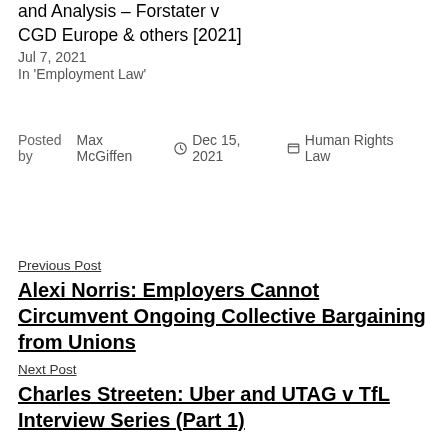and Analysis – Forstater v CGD Europe & others [2021]
Jul 7, 2021
In 'Employment Law'
Posted by Max McGiffen  Dec 15, 2021  Human Rights Law
Previous Post
Alexi Norris: Employers Cannot Circumvent Ongoing Collective Bargaining from Unions
Next Post
Charles Streeten: Uber and UTAG v TfL Interview Series (Part 1)